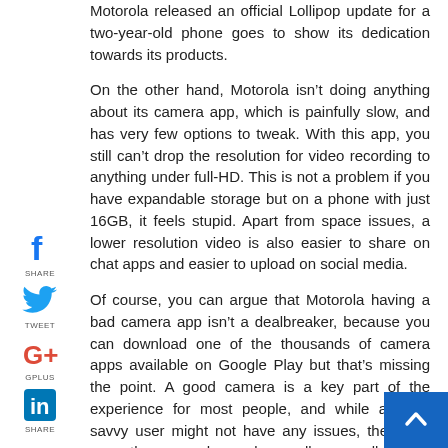Motorola released an official Lollipop update for a two-year-old phone goes to show its dedication towards its products.
On the other hand, Motorola isn’t doing anything about its camera app, which is painfully slow, and has very few options to tweak. With this app, you still can’t drop the resolution for video recording to anything under full-HD. This is not a problem if you have expandable storage but on a phone with just 16GB, it feels stupid. Apart from space issues, a lower resolution video is also easier to share on chat apps and easier to upload on social media.
Of course, you can argue that Motorola having a bad camera app isn’t a dealbreaker, because you can download one of the thousands of camera apps available on Google Play but that’s missing the point. A good camera is a key part of the experience for most people, and while a tech-savvy user might not have any issues, there are more than enough people we all personally know, who will remain saddled with the default application.